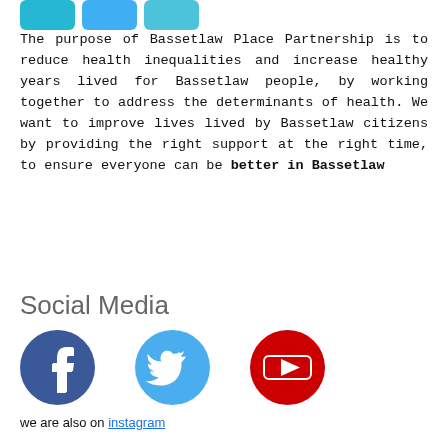[Figure (logo): Partial logo with coloured icon elements at top left]
The purpose of Bassetlaw Place Partnership is to reduce health inequalities and increase healthy years lived for Bassetlaw people, by working together to address the determinants of health. We want to improve lives lived by Bassetlaw citizens by providing the right support at the right time, to ensure everyone can be better in Bassetlaw
Social Media
[Figure (illustration): Three social media icons: Facebook (dark blue circle with white f), Twitter (blue circle with white bird), YouTube (red circle with white play button)]
we are also on instagram